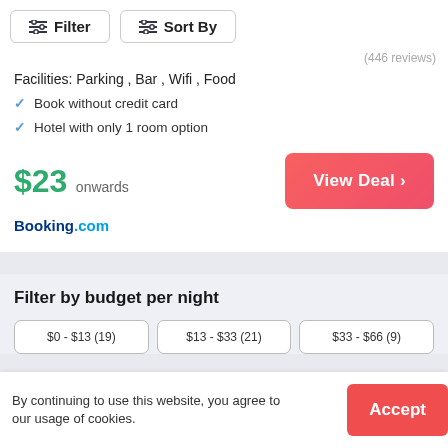Filter | Sort By
(446 reviews)
Facilities: Parking , Bar , Wifi , Food
Book without credit card
Hotel with only 1 room option
$23 onwards
Booking.com
Filter by budget per night
$0 - $13 (19)
$13 - $33 (21)
$33 - $66 (9)
By continuing to use this website, you agree to our usage of cookies.